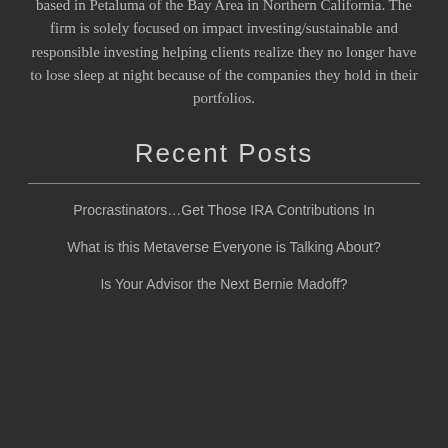based in Petaluma of the Bay Area in Northern California. The firm is solely focused on impact investing/sustainable and responsible investing helping clients realize they no longer have to lose sleep at night because of the companies they hold in their portfolios.
Recent Posts
Procrastinators…Get Those IRA Contributions In
What is this Metaverse Everyone is Talking About?
Is Your Advisor the Next Bernie Madoff?